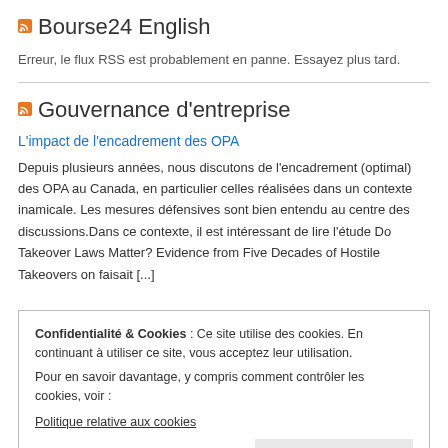Bourse24 English
Erreur, le flux RSS est probablement en panne. Essayez plus tard.
Gouvernance d'entreprise
L'impact de l'encadrement des OPA
Depuis plusieurs années, nous discutons de l'encadrement (optimal) des OPA au Canada, en particulier celles réalisées dans un contexte inamicale. Les mesures défensives sont bien entendu au centre des discussions.Dans ce contexte, il est intéressant de lire l'étude Do Takeover Laws Matter? Evidence from Five Decades of Hostile Takeovers on faisait [...]
Confidentialité & Cookies : Ce site utilise des cookies. En continuant à utiliser ce site, vous acceptez leur utilisation.
Pour en savoir davantage, y compris comment contrôler les cookies, voir :
Politique relative aux cookies
délits d'initiés, Insider Trading and the Stock Market, véritable coup d...